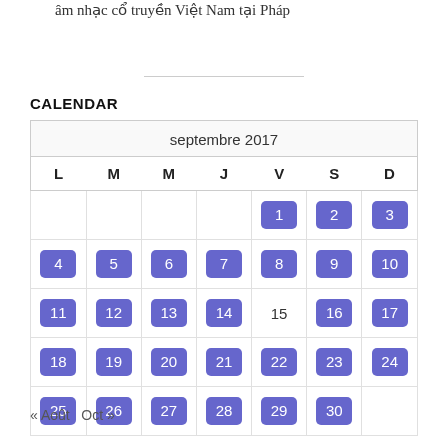âm nhạc cổ truyền Việt Nam tại Pháp
CALENDAR
| L | M | M | J | V | S | D |
| --- | --- | --- | --- | --- | --- | --- |
|  |  |  |  | 1 | 2 | 3 |
| 4 | 5 | 6 | 7 | 8 | 9 | 10 |
| 11 | 12 | 13 | 14 | 15 | 16 | 17 |
| 18 | 19 | 20 | 21 | 22 | 23 | 24 |
| 25 | 26 | 27 | 28 | 29 | 30 |  |
« Août   Oct »